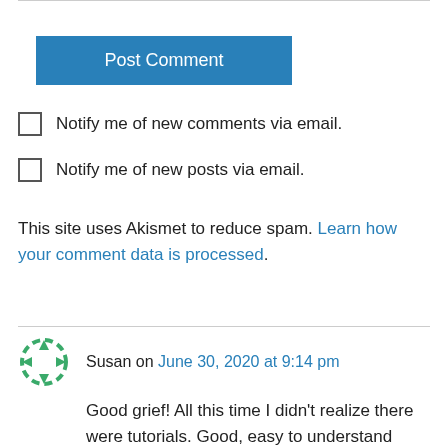Post Comment
Notify me of new comments via email.
Notify me of new posts via email.
This site uses Akismet to reduce spam. Learn how your comment data is processed.
Susan on June 30, 2020 at 9:14 pm
Good grief! All this time I didn't realize there were tutorials. Good, easy to understand directions. Thank you
Like